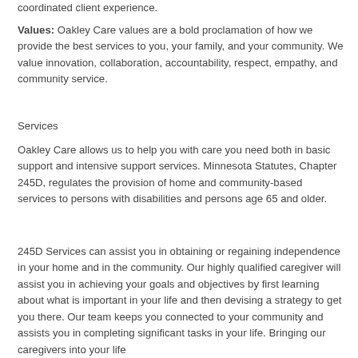coordinated client experience.
Values: Oakley Care values are a bold proclamation of how we provide the best services to you, your family, and your community. We value innovation, collaboration, accountability, respect, empathy, and community service.
Services
Oakley Care allows us to help you with care you need both in basic support and intensive support services. Minnesota Statutes, Chapter 245D, regulates the provision of home and community-based services to persons with disabilities and persons age 65 and older.
245D Services can assist you in obtaining or regaining independence in your home and in the community. Our highly qualified caregiver will assist you in achieving your goals and objectives by first learning about what is important in your life and then devising a strategy to get you there. Our team keeps you connected to your community and assists you in completing significant tasks in your life. Bringing our caregivers into your life